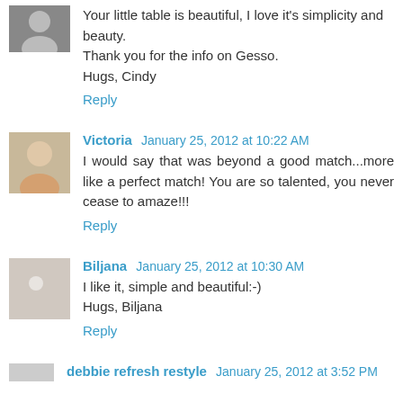Your little table is beautiful, I love it's simplicity and beauty. Thank you for the info on Gesso.
Hugs, Cindy
Reply
Victoria  January 25, 2012 at 10:22 AM
I would say that was beyond a good match...more like a perfect match! You are so talented, you never cease to amaze!!!
Reply
Biljana  January 25, 2012 at 10:30 AM
I like it, simple and beautiful:-)
Hugs, Biljana
Reply
debbie refresh restyle  January 25, 2012 at 3:52 PM